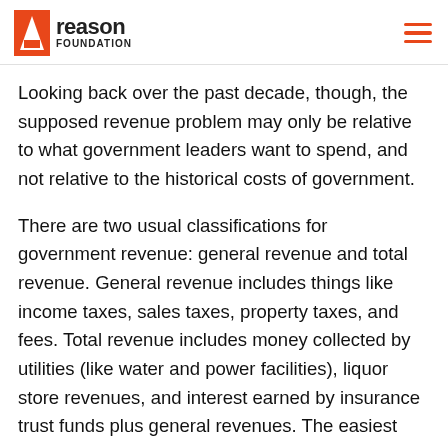reason FOUNDATION
Looking back over the past decade, though, the supposed revenue problem may only be relative to what government leaders want to spend, and not relative to the historical costs of government.
There are two usual classifications for government revenue: general revenue and total revenue. General revenue includes things like income taxes, sales taxes, property taxes, and fees. Total revenue includes money collected by utilities (like water and power facilities), liquor store revenues, and interest earned by insurance trust funds plus general revenues. The easiest way to think about the difference is that general revenue is determined by